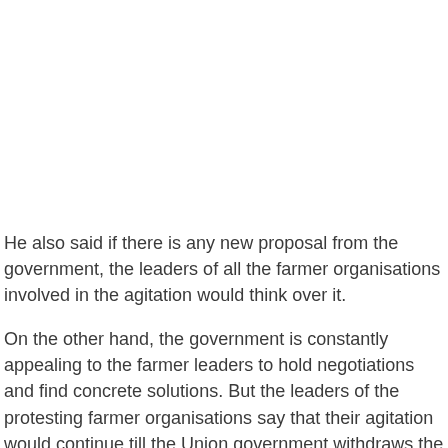He also said if there is any new proposal from the government, the leaders of all the farmer organisations involved in the agitation would think over it.
On the other hand, the government is constantly appealing to the farmer leaders to hold negotiations and find concrete solutions. But the leaders of the protesting farmer organisations say that their agitation would continue till the Union government withdraws the three new farm laws.